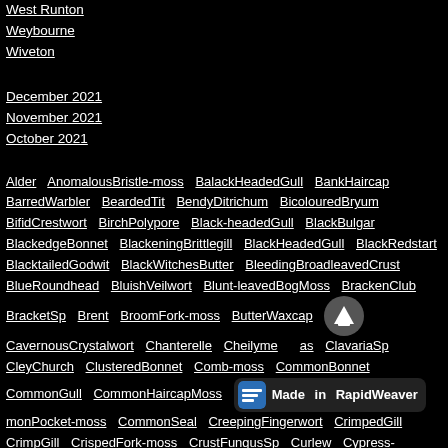West Runton
Weybourne
Wiveton
December 2021
November 2021
October 2021
Alder AnomalousBristle-moss BalackHeadedGull BankHaircap BarredWarbler BeardedTit BendyDitrichum BicolouredBryum BifidCrestwort BirchPolypore Black-headedGull BlackBulgar BlackedgeBonnet BlackeningBrittlegill BlackHeadedGull BlackRedstart BlacktailedGodwit BlackWitchesButter BleedingBroadleavedCrust BlueRoundhead BluishVeilwort Blunt-leavedBogMoss BrackenClub BracketSp Brent BroomFork-moss ButterWaxcap Bu... CavernousCrystalwort Chanterelle Cheilyme... ClavariaSp CleyChurch ClusteredBonnet Comb-moss CommonBonnet CommonGull CommonHaircapMoss monPocket-moss CommonSeal CreepingFingerwort CrimpedGill CrimpGill CrispedFork-moss CrustFungusSp Curlew Cypress-